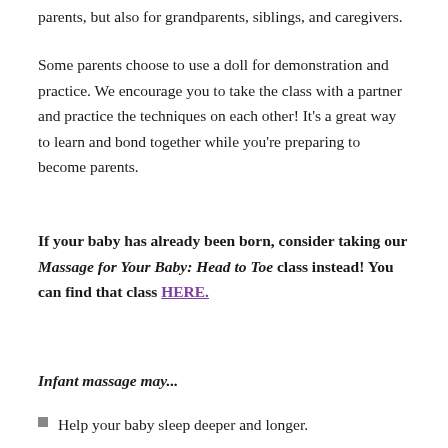parents, but also for grandparents, siblings, and caregivers.
Some parents choose to use a doll for demonstration and practice. We encourage you to take the class with a partner and practice the techniques on each other! It's a great way to learn and bond together while you're preparing to become parents.
If your baby has already been born, consider taking our Massage for Your Baby: Head to Toe class instead! You can find that class HERE.
Infant massage may...
Help your baby sleep deeper and longer.